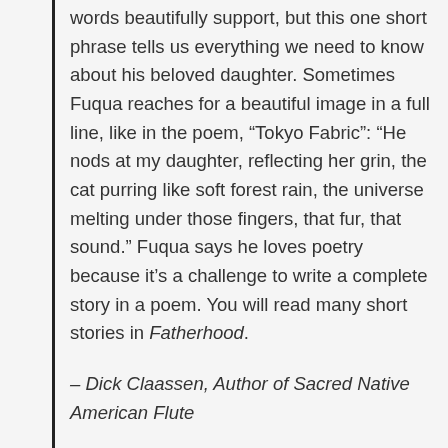words beautifully support, but this one short phrase tells us everything we need to know about his beloved daughter. Sometimes Fuqua reaches for a beautiful image in a full line, like in the poem, “Tokyo Fabric”: “He nods at my daughter, reflecting her grin, the cat purring like soft forest rain, the universe melting under those fingers, that fur, that sound.” Fuqua says he loves poetry because it’s a challenge to write a complete story in a poem. You will read many short stories in Fatherhood.
– Dick Claassen, Author of Sacred Native American Flute